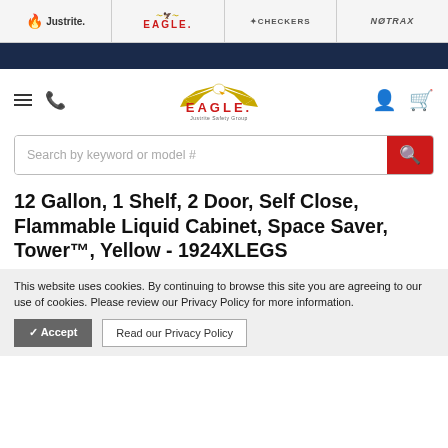Justrite | EAGLE | CHECKERS | NOTRAX
[Figure (logo): Eagle Safety Group navigation logo with eagle wings, EAGLE red text, and Justrite Safety Group subtitle]
Search by keyword or model #
12 Gallon, 1 Shelf, 2 Door, Self Close, Flammable Liquid Cabinet, Space Saver, Tower™, Yellow - 1924XLEGS
This website uses cookies. By continuing to browse this site you are agreeing to our use of cookies. Please review our Privacy Policy for more information.
✓ Accept   Read our Privacy Policy